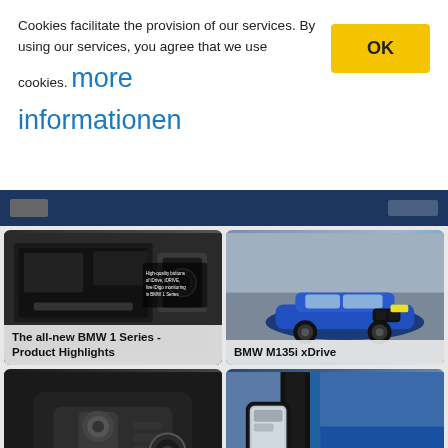Cookies facilitate the provision of our services. By using our services, you agree that we use cookies. more informationen
[Figure (screenshot): Cookie consent banner with OK button, BMW website navigation bar, grid of BMW 1 Series product images including interior dashboard, blue exterior BMW M135i xDrive, gear shifter interior, side mirror exterior, mountain landscape, and exterior highlights brochure page]
The all-new BMW 1 Series - Product Highlights
BMW M135i xDrive
BMW M135i xDrive
BMW M135i xDrive